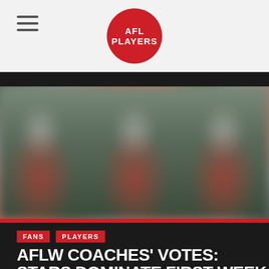AFL Players
[Figure (photo): Blurred photo of three people wearing red AFL jerseys, standing outdoors on a sports field]
FANS
PLAYERS
AFLW COACHES' VOTES: STARS DOMINATE FIRST WEEK